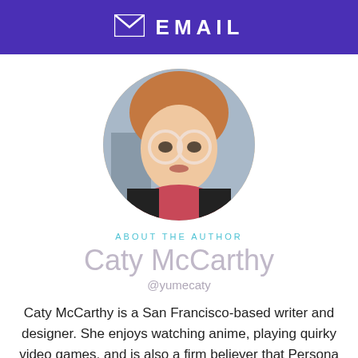EMAIL
[Figure (photo): Circular profile photo of Caty McCarthy, a young woman with red/auburn bangs and large round glasses, wearing a floral top.]
ABOUT THE AUTHOR
Caty McCarthy
@yumecaty
Caty McCarthy is a San Francisco-based writer and designer. She enjoys watching anime, playing quirky video games, and is also a firm believer that Persona